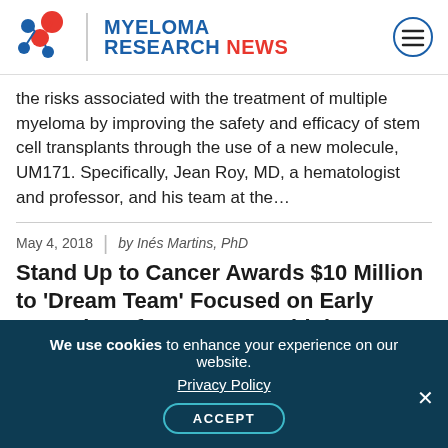MYELOMA RESEARCH NEWS
the risks associated with the treatment of multiple myeloma by improving the safety and efficacy of stem cell transplants through the use of a new molecule, UM171. Specifically, Jean Roy, MD, a hematologist and professor, and his team at the...
May 4, 2018 | by Inés Martins, PhD
Stand Up to Cancer Awards $10 Million to 'Dream Team' Focused on Early Detection of Precursor Multiple Myeloma Conditions
Stand Up to Cancer (SU2C) recently awarded $10 million to a SU2C Dream Team that is focused on...
We use cookies to enhance your experience on our website. Privacy Policy ACCEPT